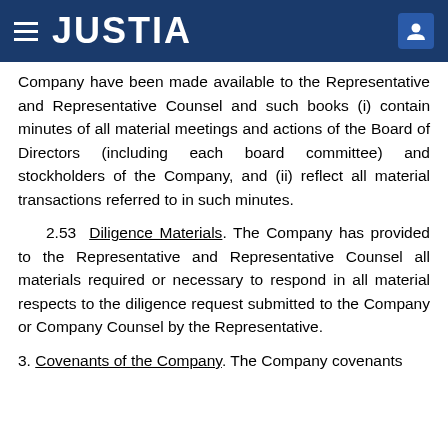JUSTIA
Company have been made available to the Representative and Representative Counsel and such books (i) contain minutes of all material meetings and actions of the Board of Directors (including each board committee) and stockholders of the Company, and (ii) reflect all material transactions referred to in such minutes.
2.53 Diligence Materials. The Company has provided to the Representative and Representative Counsel all materials required or necessary to respond in all material respects to the diligence request submitted to the Company or Company Counsel by the Representative.
3. Covenants of the Company. The Company covenants